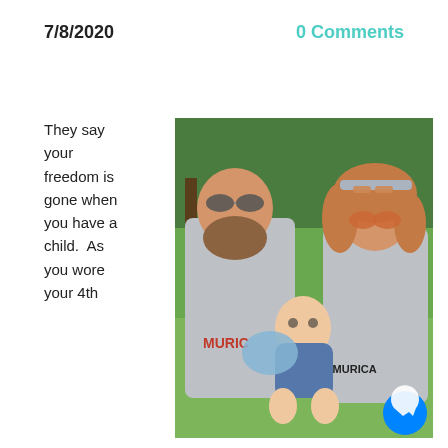7/8/2020
0 Comments
They say your freedom is gone when you have a child.  As you wore your 4th
[Figure (photo): A couple standing outdoors on a lawn with trees in the background. The man on the left is large, bald, wearing sunglasses and a gray 'MURICA' t-shirt. The woman on the right has curly reddish-brown hair, wearing sunglasses on her head and a gray 'MURICA' t-shirt. They are holding a baby between them dressed in a patriotic outfit.]